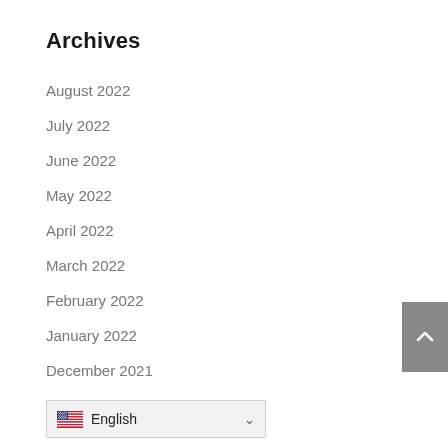Archives
August 2022
July 2022
June 2022
May 2022
April 2022
March 2022
February 2022
January 2022
December 2021
November 2021